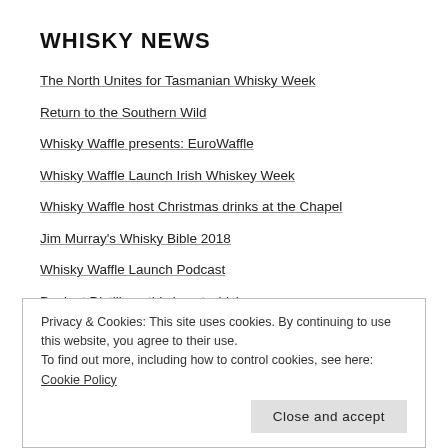WHISKY NEWS
The North Unites for Tasmanian Whisky Week
Return to the Southern Wild
Whisky Waffle presents: EuroWaffle
Whisky Waffle Launch Irish Whiskey Week
Whisky Waffle host Christmas drinks at the Chapel
Jim Murray's Whisky Bible 2018
Whisky Waffle Launch Podcast
Deviant Distillery: this is not whisky
Privacy & Cookies: This site uses cookies. By continuing to use this website, you agree to their use.
To find out more, including how to control cookies, see here: Cookie Policy
Close and accept